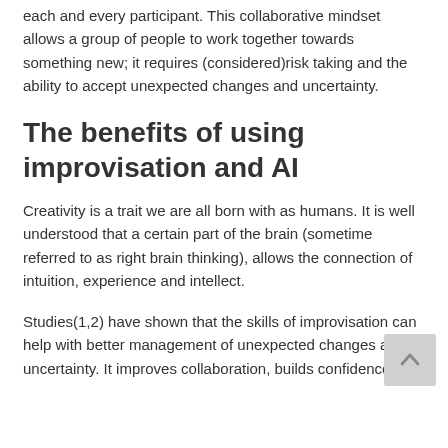each and every participant. This collaborative mindset allows a group of people to work together towards something new; it requires (considered)risk taking and the ability to accept unexpected changes and uncertainty.
The benefits of using improvisation and AI
Creativity is a trait we are all born with as humans. It is well understood that a certain part of the brain (sometime referred to as right brain thinking), allows the connection of intuition, experience and intellect.
Studies(1,2) have shown that the skills of improvisation can help with better management of unexpected changes and uncertainty. It improves collaboration, builds confidence, and